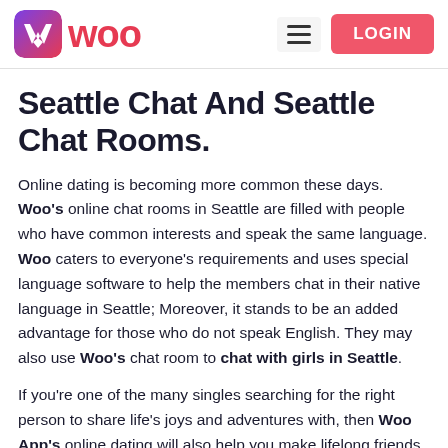Woo | LOGIN
Seattle Chat And Seattle Chat Rooms.
Online dating is becoming more common these days. Woo's online chat rooms in Seattle are filled with people who have common interests and speak the same language. Woo caters to everyone's requirements and uses special language software to help the members chat in their native language in Seattle; Moreover, it stands to be an added advantage for those who do not speak English. They may also use Woo's chat room to chat with girls in Seattle.
If you're one of the many singles searching for the right person to share life's joys and adventures with, then Woo App's online dating will also help you make lifelong friends